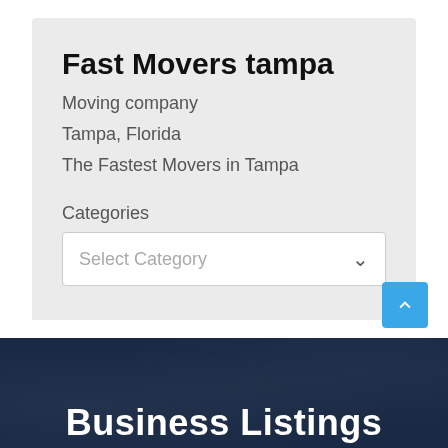Fast Movers tampa
Moving company
Tampa, Florida
The Fastest Movers in Tampa
Categories
Select Category
Business Listings